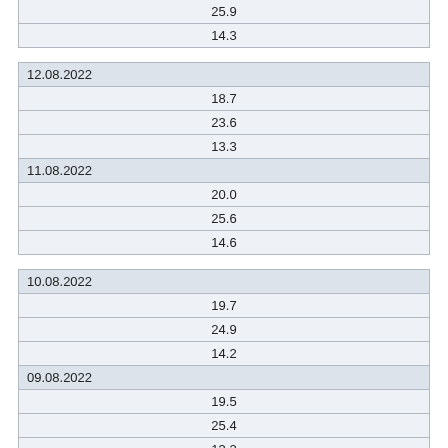| 25.9 |
| 14.3 |
| 12.08.2022 |
| --- |
| 18.7 |
| 23.6 |
| 13.3 |
| 11.08.2022 |
| 20.0 |
| 25.6 |
| 14.6 |
| 10.08.2022 |
| --- |
| 19.7 |
| 24.9 |
| 14.2 |
| 09.08.2022 |
| 19.5 |
| 25.4 |
| 13.2 |